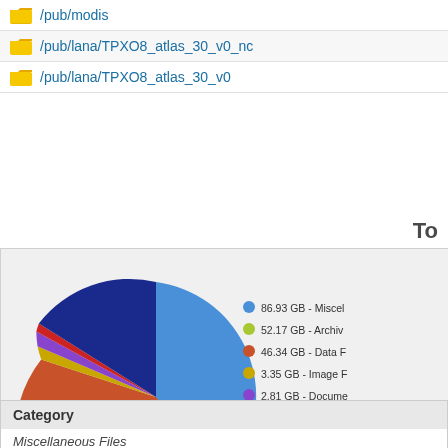/pub/modis
/pub/lana/TPXO8_atlas_30_v0_nc
/pub/lana/TPXO8_atlas_30_v0
To
[Figure (pie-chart): ]
| Category |
| --- |
| Miscellaneous Files |